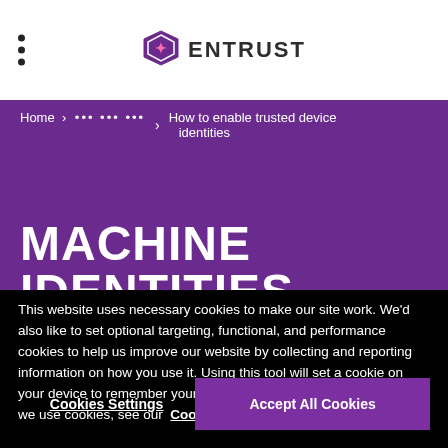ENTRUST
Home › ••• ••• ••• › How to enable trusted device identities
MACHINE IDENTITIES
This website uses necessary cookies to make our site work. We'd also like to set optional targeting, functional, and performance cookies to help us improve our website by collecting and reporting information on how you use it. Using this tool will set a cookie on your device to remember your preferences. To read more about how we use cookies, see our Cookie Policy.
Cookies Settings
Accept All Cookies